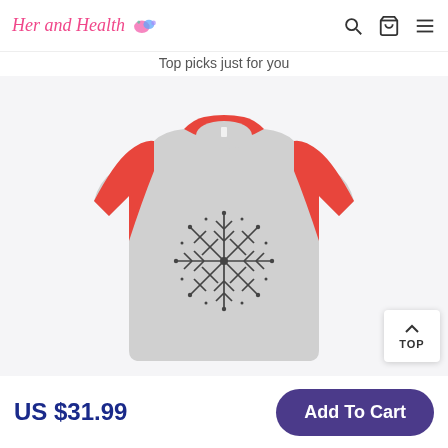Her and Health
Top picks just for you
[Figure (photo): A gray and red raglan long-sleeve baseball shirt with a dark snowflake graphic printed on the front center.]
US $31.99
Add To Cart